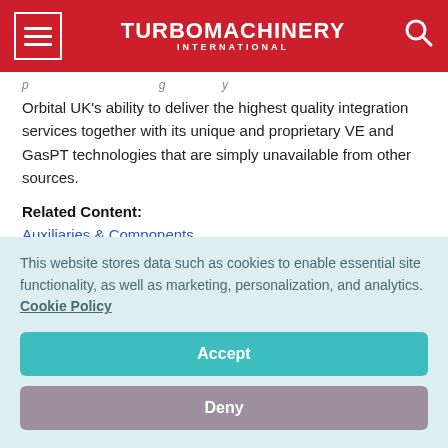TURBOMACHINERY INTERNATIONAL
Orbital UK's ability to deliver the highest quality integration services together with its unique and proprietary VE and GasPT technologies that are simply unavailable from other sources.
Related Content:
Auxiliaries & Components
Kistler 8763B Accelerometer Improvements
This website stores data such as cookies to enable essential site functionality, as well as marketing, personalization, and analytics. Cookie Policy
Accept
Deny